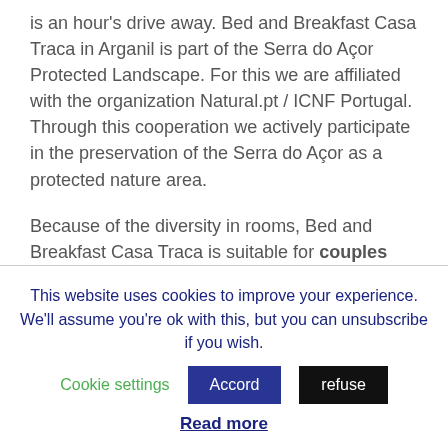is an hour's drive away. Bed and Breakfast Casa Traca in Arganil is part of the Serra do Açor Protected Landscape. For this we are affiliated with the organization Natural.pt / ICNF Portugal. Through this cooperation we actively participate in the preservation of the Serra do Açor as a protected nature area.

Because of the diversity in rooms, Bed and Breakfast Casa Traca is suitable for couples and
This website uses cookies to improve your experience. We'll assume you're ok with this, but you can unsubscribe if you wish. Cookie settings Accord refuse
Read more